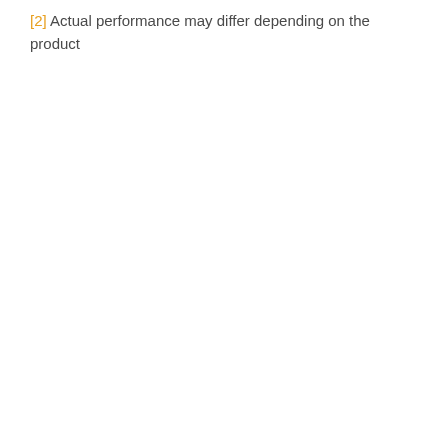[2] Actual performance may differ depending on the product